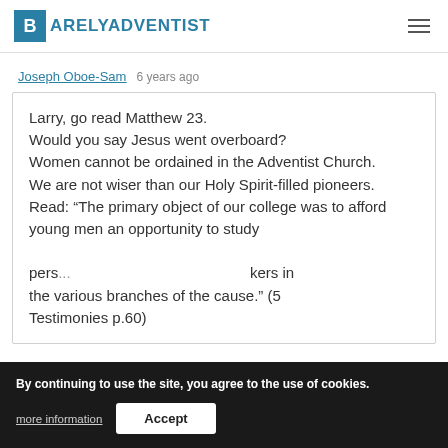BARELY ADVENTIST
Joseph Oboe-Sam  6 years ago
Larry, go read Matthew 23.
Would you say Jesus went overboard?
Women cannot be ordained in the Adventist Church.
We are not wiser than our Holy Spirit-filled pioneers.
Read: “The primary object of our college was to afford young men an opportunity to study ... kers in the various branches of the cause.” (5 Testimonies p.60)
By continuing to use the site, you agree to the use of cookies.